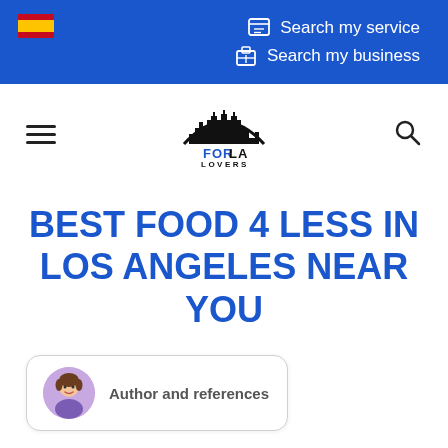Search my service | Search my business
[Figure (logo): FOR LA LOVERS logo with city skyline icon]
BEST FOOD 4 LESS IN LOS ANGELES NEAR YOU
Author and references